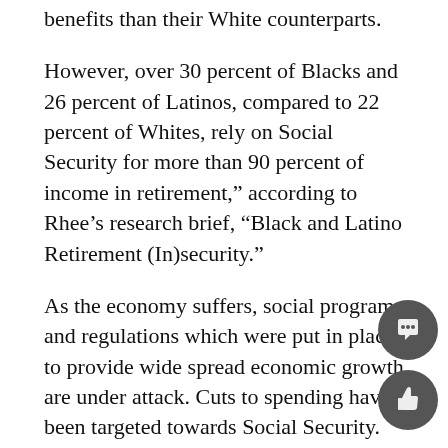benefits than their White counterparts.
However, over 30 percent of Blacks and 26 percent of Latinos, compared to 22 percent of Whites, rely on Social Security for more than 90 percent of income in retirement," according to Rhee’s research brief, “Black and Latino Retirement (In)security."
As the economy suffers, social programs and regulations which were put in place to provide wide spread economic growth are under attack. Cuts to spending have been targeted towards Social Security.
In April 2011, Congress passed a budget that cut Social Security administrative funding by nearly $1 billion, in addition to President Obama’s initial requested amount, according to the Federal Times.
Rhee says the unequal distribution of retirement income between minorities and Whites is the afterma-